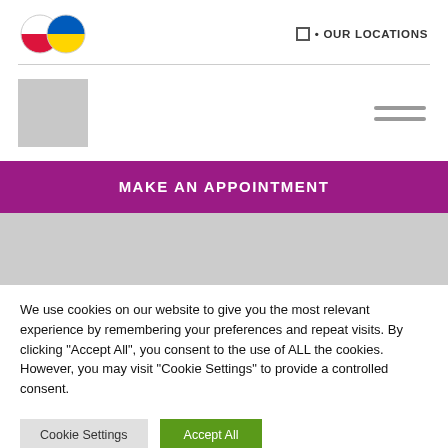[Figure (logo): Two overlapping circles: left circle is Polish flag (white/red), right circle is Ukrainian flag (blue/yellow)]
• OUR LOCATIONS
[Figure (illustration): Gray placeholder image rectangle]
[Figure (illustration): Hamburger menu icon with two horizontal lines]
MAKE AN APPOINTMENT
[Figure (other): Gray bar/placeholder image strip]
We use cookies on our website to give you the most relevant experience by remembering your preferences and repeat visits. By clicking "Accept All", you consent to the use of ALL the cookies. However, you may visit "Cookie Settings" to provide a controlled consent.
Cookie Settings
Accept All